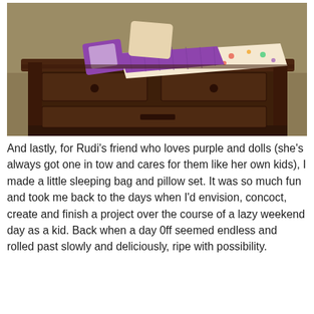[Figure (photo): A photograph of a small doll sleeping bag and pillow set with purple quilted fabric and floral patterned fabric, arranged on top of a dark wooden dresser with carved details, against a tan/brown wall.]
And lastly, for Rudi's friend who loves purple and dolls (she's always got one in tow and cares for them like her own kids), I made a little sleeping bag and pillow set. It was so much fun and took me back to the days when I'd envision, concoct, create and finish a project over the course of a lazy weekend day as a kid. Back when a day 0ff seemed endless and rolled past slowly and deliciously, ripe with possibility.